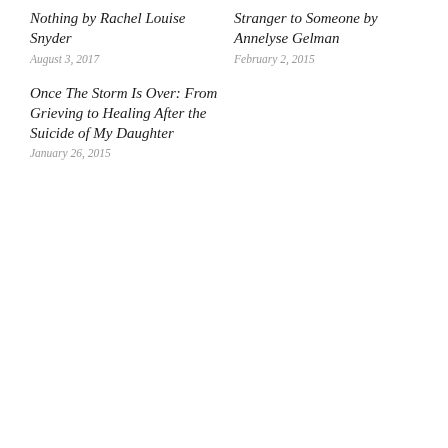Nothing by Rachel Louise Snyder
August 3, 2017
Stranger to Someone by Annelyse Gelman
February 2, 2015
Once The Storm Is Over: From Grieving to Healing After the Suicide of My Daughter
January 26, 2015